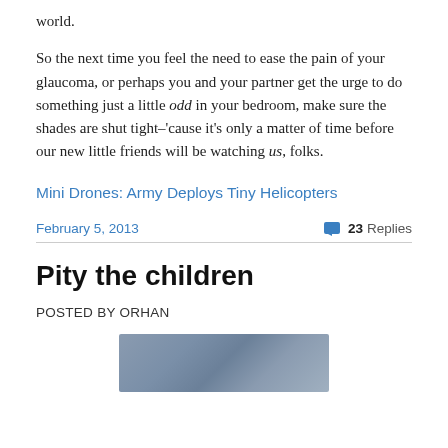world.
So the next time you feel the need to ease the pain of your glaucoma, or perhaps you and your partner get the urge to do something just a little odd in your bedroom, make sure the shades are shut tight–'cause it's only a matter of time before our new little friends will be watching us, folks.
Mini Drones: Army Deploys Tiny Helicopters
February 5, 2013
23 Replies
Pity the children
POSTED BY ORHAN
[Figure (photo): A photograph of children, partially visible at the bottom of the page.]